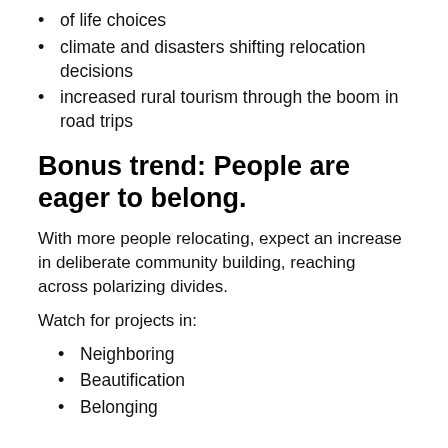of life choices
climate and disasters shifting relocation decisions
increased rural tourism through the boom in road trips
Bonus trend: People are eager to belong.
With more people relocating, expect an increase in deliberate community building, reaching across polarizing divides.
Watch for projects in:
Neighboring
Beautification
Belonging